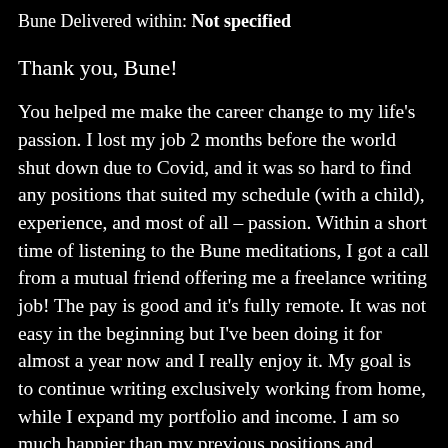Bune Delivered within: Not specified
Thank you, Bune!
You helped me make the career change to my life's passion. I lost my job 2 months before the world shut down due to Covid, and it was so hard to find any positions that suited my schedule (with a child), experience, and most of all – passion. Within a short time of listening to the Bune meditations, I got a call from a mutual friend offering me a freelance writing job! The pay is good and it's fully remote. It was not easy in the beginning but I've been doing it for almost a year now and I really enjoy it. My goal is to continue writing exclusively working from home, while I expand my portfolio and income. I am so much happier than my previous positions and beyond grateful to Bune for